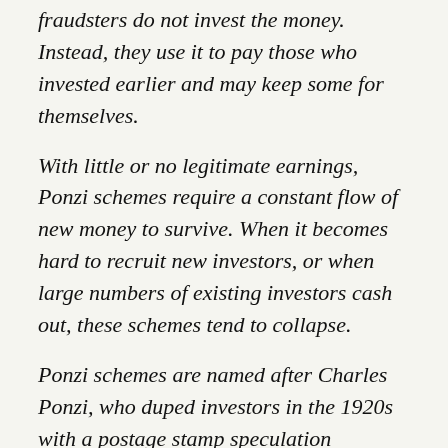fraudsters do not invest the money. Instead, they use it to pay those who invested earlier and may keep some for themselves.
With little or no legitimate earnings, Ponzi schemes require a constant flow of new money to survive. When it becomes hard to recruit new investors, or when large numbers of existing investors cash out, these schemes tend to collapse.
Ponzi schemes are named after Charles Ponzi, who duped investors in the 1920s with a postage stamp speculation scheme."
They further go on to list red flags to look out for: